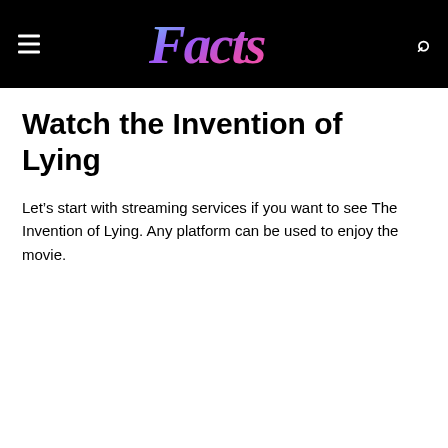Facts
Watch the Invention of Lying
Let’s start with streaming services if you want to see The Invention of Lying. Any platform can be used to enjoy the movie.